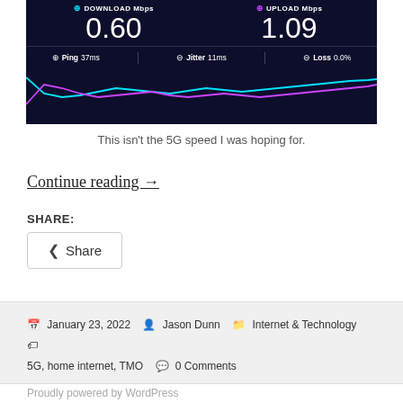[Figure (screenshot): Internet speed test screenshot showing DOWNLOAD 0.60 Mbps, UPLOAD 1.09 Mbps, Ping 37ms, Jitter 11ms, Loss 0.0%, with cyan and purple speed graph lines on dark background]
This isn't the 5G speed I was hoping for.
Continue reading →
SHARE:
Share
January 23, 2022  Jason Dunn  Internet & Technology  5G, home internet, TMO  0 Comments
Proudly powered by WordPress